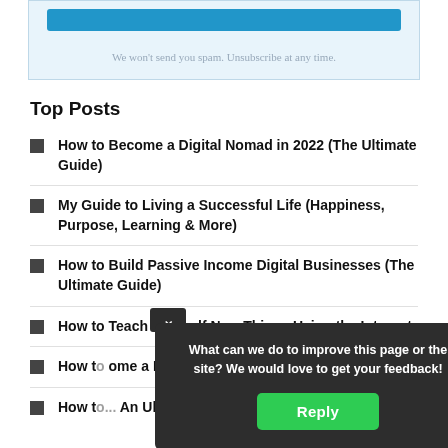[Figure (other): Blue subscribe button at top of a subscription box with light blue background]
We won't send you spam. Unsubscribe at any time.
Top Posts
How to Become a Digital Nomad in 2022 (The Ultimate Guide)
My Guide to Living a Successful Life (Happiness, Purpose, Learning & More)
How to Build Passive Income Digital Businesses (The Ultimate Guide)
How to Teach Yourself New Things Using the Internet
How to become a Freelancer...
How to ... An Ul...
[Figure (other): Dark feedback popup overlay with text 'What can we do to improve this page or the site? We would love to get your feedback!' and a green Reply button]
[Figure (other): reCAPTCHA badge with logo and Privacy - Terms text]